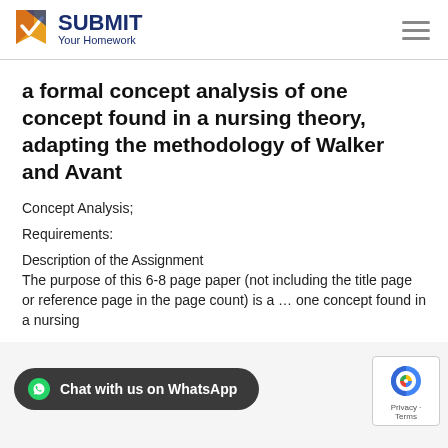SUBMIT Your Homework
a formal concept analysis of one concept found in a nursing theory, adapting the methodology of Walker and Avant
Concept Analysis;
Requirements:
Description of the Assignment
The purpose of this 6-8 page paper (not including the title page or reference page in the page count) is a … one concept found in a nursing